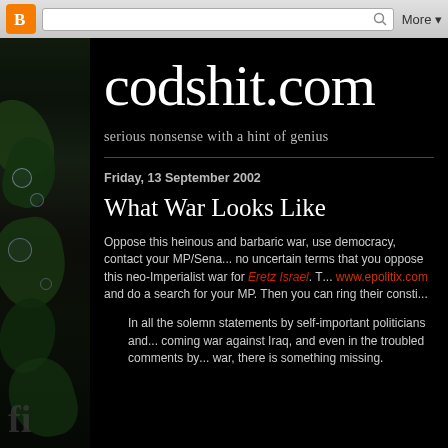Blogger navbar with logo, search bar, More▼
[Figure (illustration): Left sidebar decorative strip with dark green/black nature imagery and bubble/circle overlay effects]
codshit.com
serious nonsense with a hint of genius
Friday, 13 September 2002
What War Looks Like
Oppose this heinous and barbaric war, use democracy, contact your MP/Sena... no uncertain terms that you oppose this neo-Imperialist war for Eretz Israel. T... www.epolitix.com and do a search for your MP. Then you can ring their consti...
In all the solemn statements by self-important politicians and ... coming war against Iraq, and even in the troubled comments by ... war, there is something missing.